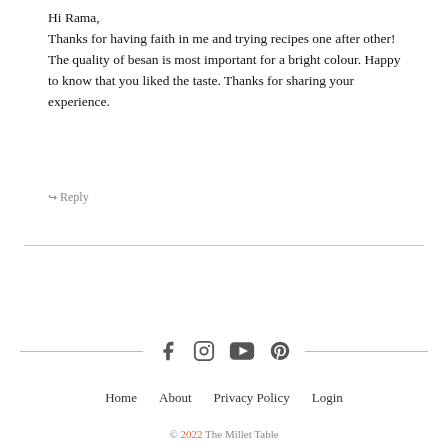Hi Rama,
Thanks for having faith in me and trying recipes one after other! The quality of besan is most important for a bright colour. Happy to know that you liked the taste. Thanks for sharing your experience.
↪ Reply
Home   About   Privacy Policy   Login
© 2022 The Millet Table